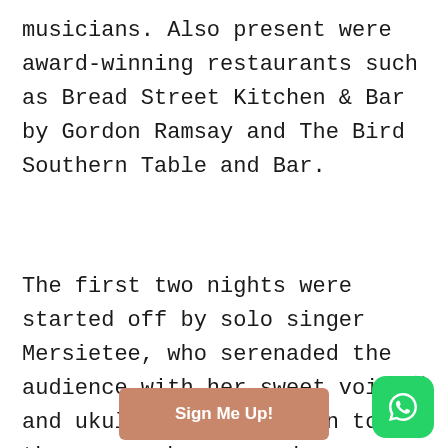musicians. Also present were award-winning restaurants such as Bread Street Kitchen & Bar by Gordon Ramsay and The Bird Southern Table and Bar.
The first two nights were started off by solo singer Mersietee, who serenaded the audience with her sweet voice and ukulele. In addition to the songs she covered, Mersietee also gave us the opportunity to listen to
×
Sign Me Up!
[Figure (logo): WhatsApp logo button — green rounded square with white phone handset icon]